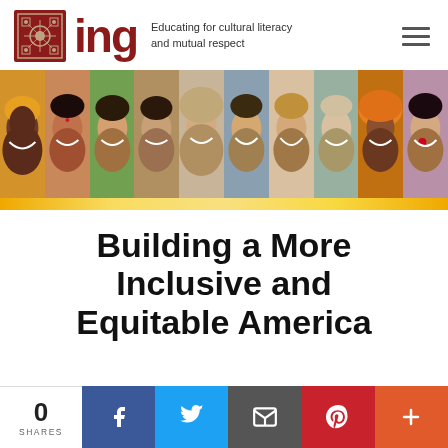[Figure (logo): ING logo with ornate red square icon, large 'ing' text in dark red, tagline 'Educating for cultural literacy and mutual respect']
[Figure (photo): Row of diverse smiling faces from different cultural and religious backgrounds, with a golden/yellow bar underneath]
Building a More Inclusive and Equitable America
[Figure (infographic): Social sharing bar with 0 SHARES count, Facebook, Twitter, Email, Pinterest, and More buttons]